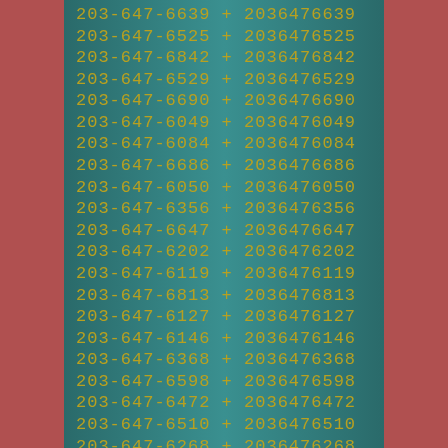| Formatted Number |  | Unformatted Number |
| --- | --- | --- |
| 203-647-6639 | + | 2036476639 |
| 203-647-6525 | + | 2036476525 |
| 203-647-6842 | + | 2036476842 |
| 203-647-6529 | + | 2036476529 |
| 203-647-6690 | + | 2036476690 |
| 203-647-6049 | + | 2036476049 |
| 203-647-6084 | + | 2036476084 |
| 203-647-6686 | + | 2036476686 |
| 203-647-6050 | + | 2036476050 |
| 203-647-6356 | + | 2036476356 |
| 203-647-6647 | + | 2036476647 |
| 203-647-6202 | + | 2036476202 |
| 203-647-6119 | + | 2036476119 |
| 203-647-6813 | + | 2036476813 |
| 203-647-6127 | + | 2036476127 |
| 203-647-6146 | + | 2036476146 |
| 203-647-6368 | + | 2036476368 |
| 203-647-6598 | + | 2036476598 |
| 203-647-6472 | + | 2036476472 |
| 203-647-6510 | + | 2036476510 |
| 203-647-6268 | + | 2036476268 |
| 203-647-6466 | + | 2036476466 |
| 203-647-6801 | + | 2036476801 |